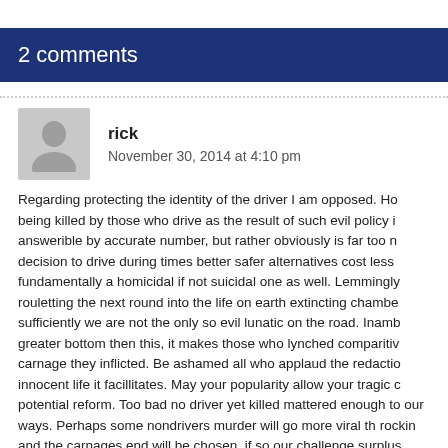2 comments
rick
November 30, 2014 at 4:10 pm
Regarding protecting the identity of the driver I am opposed. Ho being killed by those who drive as the result of such evil policy i answerible by accurate number, but rather obviously is far too n decision to drive during times better safer alternatives cost less fundamentally a homicidal if not suicidal one as well. Lemmingly rouletting the next round into the life on earth extincting chambe sufficiently we are not the only so evil lunatic on the road. Inamb greater bottom then this, it makes those who lynched comparitiv carnage they inflicted. Be ashamed all who applaud the redactio innocent life it facillitates. May your popularity allow your tragic potential reform. Too bad no driver yet killed mattered enough to our ways. Perhaps some nondrivers murder will go more viral th rockin and the carnages end will be chosen. if so our challenge surplus, harmony, health and peace. Apparently that so far a wo for too many 1 percenters reliant on work for those with oil we d and kill for in other ways as well. Stranger things happen all the